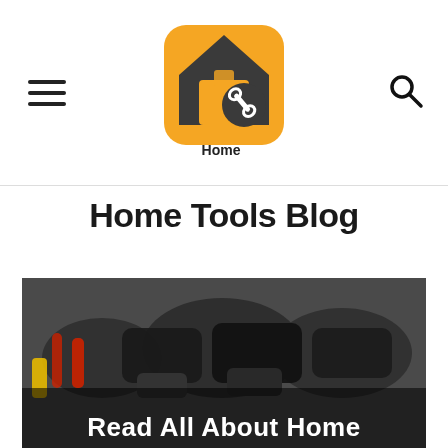[Figure (logo): Home Tools Pro logo: orange rounded square with house silhouette and wrench icon, text 'Home Tools Pro']
Home Tools Blog
[Figure (photo): Photo of power tools (drills, battery packs) arranged on a surface, dark/grey background. Overlay text at bottom: 'Read All About Home']